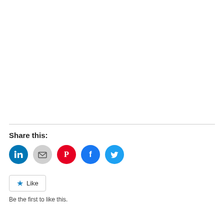Share this:
[Figure (infographic): Social sharing icons: LinkedIn (blue circle), Email (grey circle), Pinterest (red circle), Facebook (blue circle), Twitter (light blue circle)]
Like
Be the first to like this.